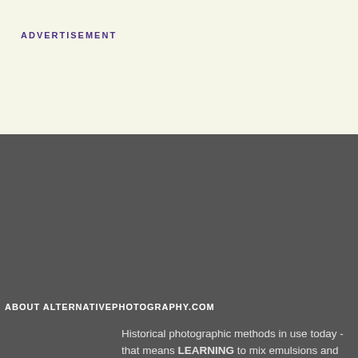ADVERTISEMENT
ABOUT ALTERNATIVEPHOTOGRAPHY.COM
Historical photographic methods in use today - that means LEARNING to mix emulsions and coat paper by hand. Getting INSPIRED by the galleries, and sharing your experiences and CONNECT with others.
Copyright 2000 ©. All rights reserved.